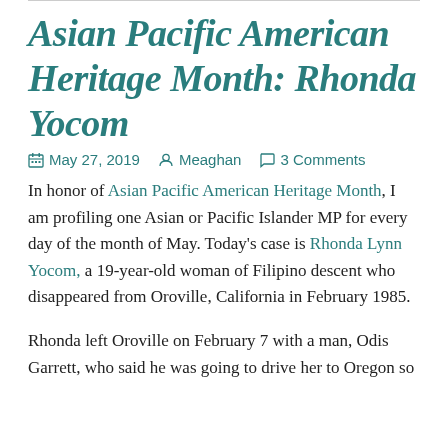Asian Pacific American Heritage Month: Rhonda Yocom
May 27, 2019   Meaghan   3 Comments
In honor of Asian Pacific American Heritage Month, I am profiling one Asian or Pacific Islander MP for every day of the month of May. Today’s case is Rhonda Lynn Yocom, a 19-year-old woman of Filipino descent who disappeared from Oroville, California in February 1985.
Rhonda left Oroville on February 7 with a man, Odis Garrett, who said he was going to drive her to Oregon so